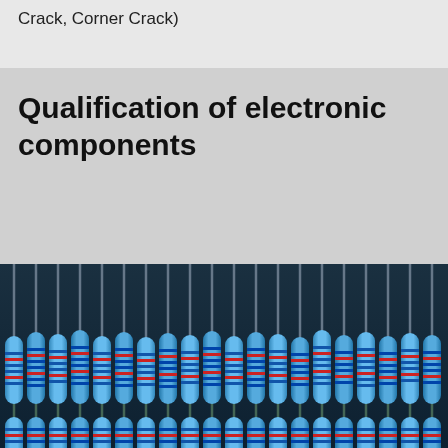Crack, Corner Crack)
Qualification of electronic components
[Figure (photo): Close-up photograph of rows of through-hole resistors (electronic components) with blue bodies and colored band markings, lead wires extending upward, arranged in a dense grid pattern with a dark teal/blue background.]